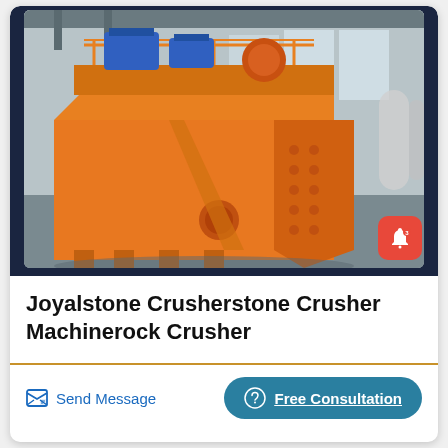[Figure (photo): Large orange stone crusher machine (Joyalstone Crusherstone Crusher) with blue electric motors on top, photographed in an industrial warehouse/factory. The machine has a heavy steel body painted bright orange with bolted panels and multiple feet.]
Joyalstone Crusherstone Crusher Machinerock Crusher
Send Message
Free Consultation